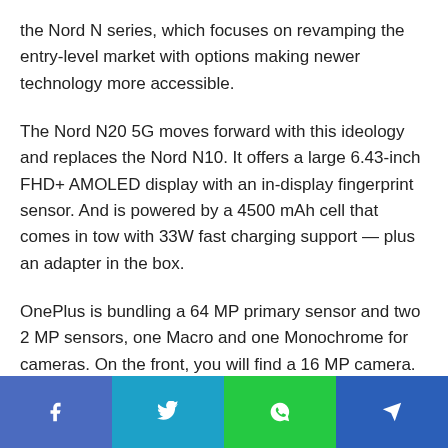the Nord N series, which focuses on revamping the entry-level market with options making newer technology more accessible.
The Nord N20 5G moves forward with this ideology and replaces the Nord N10. It offers a large 6.43-inch FHD+ AMOLED display with an in-display fingerprint sensor. And is powered by a 4500 mAh cell that comes in tow with 33W fast charging support — plus an adapter in the box.
OnePlus is bundling a 64 MP primary sensor and two 2 MP sensors, one Macro and one Monochrome for cameras. On the front, you will find a 16 MP camera. Handling all the images and applications processing is the mid-range Snapdragon 695, which is quite capable and supports 5G.
[Figure (other): Social sharing bar with four buttons: Facebook (blue-purple), Twitter (cyan), WhatsApp (green), Telegram (dark blue)]